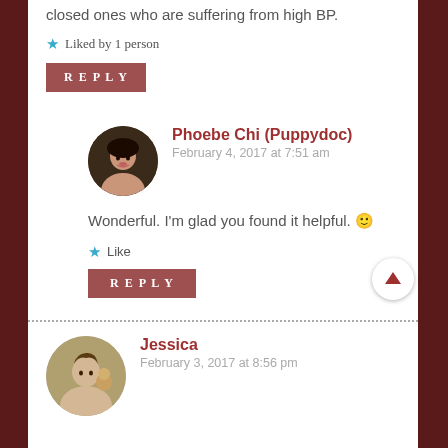closed ones who are suffering from high BP.
Liked by 1 person
REPLY
Phoebe Chi (Puppydoc)
February 4, 2017 at 7:51 am
Wonderful. I'm glad you found it helpful. 🙂
Like
REPLY
Jessica
February 3, 2017 at 8:56 pm